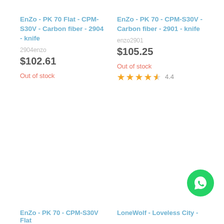EnZo - PK 70 Flat - CPM-S30V - Carbon fiber - 2904 - knife
2904enzo
$102.61
Out of stock
EnZo - PK 70 - CPM-S30V - Carbon fiber - 2901 - knife
enzo2901
$105.25
Out of stock
4.4
[Figure (logo): WhatsApp green circular button with phone/chat icon]
EnZo - PK 70 - CPM-S30V Flat
LoneWolf - Loveless City -